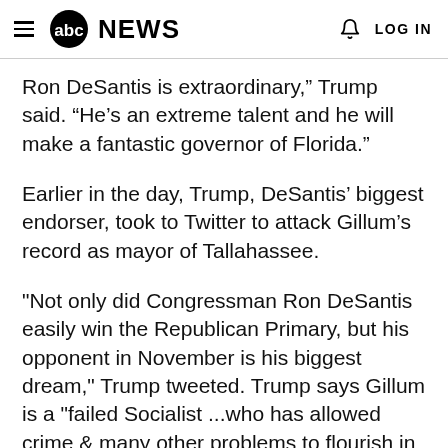abc NEWS  LOG IN
Ron DeSantis is extraordinary,” Trump said. “He’s an extreme talent and he will make a fantastic governor of Florida.”
Earlier in the day, Trump, DeSantis’ biggest endorser, took to Twitter to attack Gillum’s record as mayor of Tallahassee.
"Not only did Congressman Ron DeSantis easily win the Republican Primary, but his opponent in November is his biggest dream," Trump tweeted. Trump says Gillum is a "failed Socialist ...who has allowed crime & many other problems to flourish in his city. This is not what Florida wants or needs!"